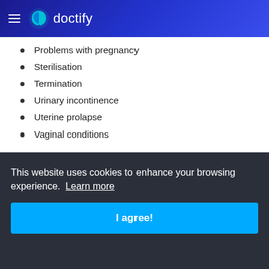doctify
Problems with pregnancy
Sterilisation
Termination
Urinary incontinence
Uterine prolapse
Vaginal conditions
What procedures do Obstetrics and Gynaecology specialists conduct?
Dubai Ob-Gyns are trained surgeons who carry
This website uses cookies to enhance your browsing experience. Learn more
I agree!
Breast exams